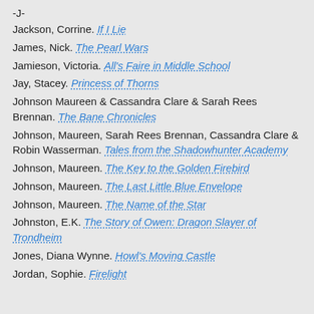-J-
Jackson, Corrine. If I Lie
James, Nick. The Pearl Wars
Jamieson, Victoria. All's Faire in Middle School
Jay, Stacey. Princess of Thorns
Johnson Maureen & Cassandra Clare & Sarah Rees Brennan. The Bane Chronicles
Johnson, Maureen, Sarah Rees Brennan, Cassandra Clare & Robin Wasserman. Tales from the Shadowhunter Academy
Johnson, Maureen. The Key to the Golden Firebird
Johnson, Maureen. The Last Little Blue Envelope
Johnson, Maureen. The Name of the Star
Johnston, E.K. The Story of Owen: Dragon Slayer of Trondheim
Jones, Diana Wynne. Howl's Moving Castle
Jordan, Sophie. Firelight